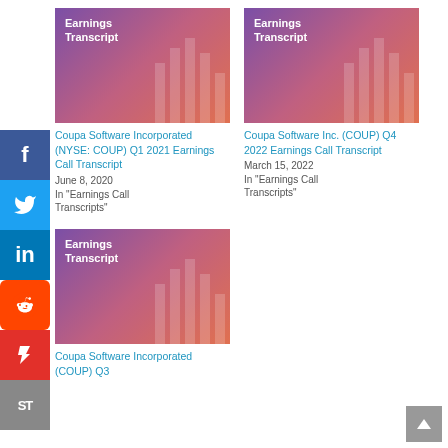[Figure (illustration): Earnings Transcript thumbnail image with purple-pink-orange gradient and decorative bar chart overlay, top-left card]
Coupa Software Incorporated (NYSE: COUP) Q1 2021 Earnings Call Transcript
June 8, 2020
In "Earnings Call Transcripts"
[Figure (illustration): Earnings Transcript thumbnail image with purple-pink-orange gradient and decorative bar chart overlay, top-right card]
Coupa Software Inc. (COUP) Q4 2022 Earnings Call Transcript
March 15, 2022
In "Earnings Call Transcripts"
[Figure (illustration): Earnings Transcript thumbnail image with purple-pink-orange gradient and decorative bar chart overlay, bottom-left card]
Coupa Software Incorporated (COUP) Q3